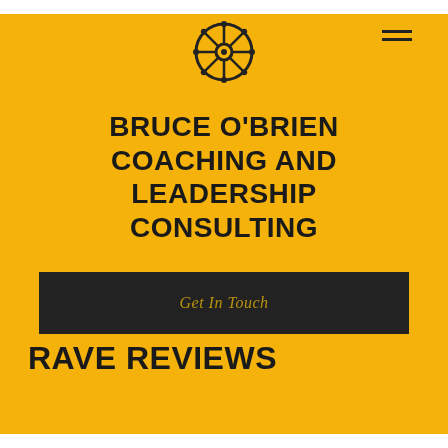[Figure (logo): Ship's wheel / helm icon in dark color, centered at top of page]
BRUCE O'BRIEN COACHING AND LEADERSHIP CONSULTING
Get In Touch
RAVE REVIEWS